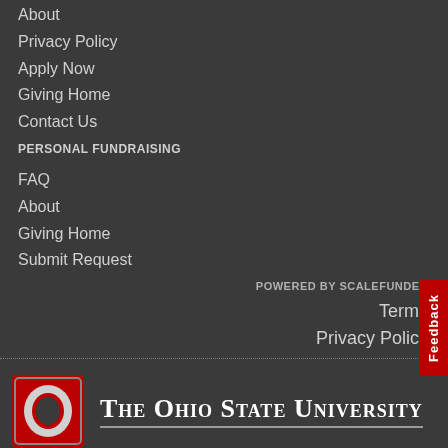About
Privacy Policy
Apply Now
Giving Home
Contact Us
PERSONAL FUNDRAISING
FAQ
About
Giving Home
Submit Request
POWERED BY SCALEFUNDER
Terms
Privacy Policy
[Figure (logo): The Ohio State University logo with red O block letter and wordmark]
© 2022 The Ohio State University, All Rights Reserved